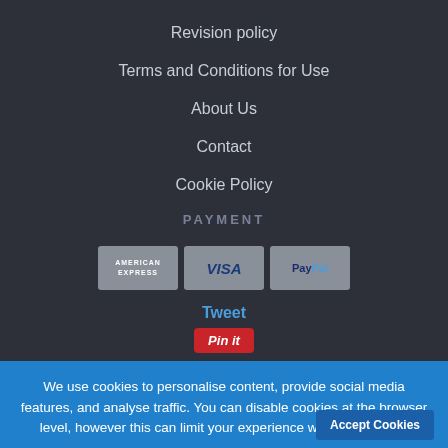Revision policy
Terms and Conditions for Use
About Us
Contact
Cookie Policy
PAYMENT
[Figure (logo): Payment method logos: American Express, VISA, PayPal]
Tweet
[Figure (logo): Pin it button]
We use cookies to personalise content, provide social media features, and analyse traffic. You can disable cookies at the browser level, however this can limit your experience with our website.
Accept Cookies